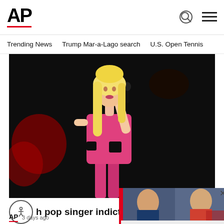AP
Trending News   Trump Mar-a-Lago search   U.S. Open Tennis
[Figure (photo): Blonde female pop singer in a pink dress performing on stage, holding a microphone, dark background with red lighting]
Turkish pop singer indicted f...
ISTANBUL (AP) — A Turkish pop-sin... years in prison after she was indicted Fr...
[Figure (photo): Overlay news card showing two male suspects side by side with text: Stabbings in Canada kill 10, wound 15; suspect...]
AP  3 days ago